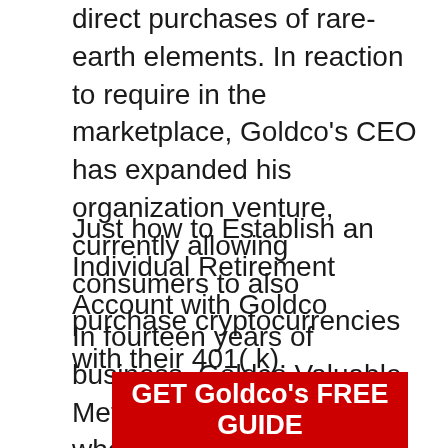direct purchases of rare-earth elements. In reaction to require in the marketplace, Goldco's CEO has expanded his organization venture, currently allowing consumers to also purchase cryptocurrencies with their 401( k).
Just how to Establish an Individual Retirement Account with Goldco
In fourteen years of business, Goldco Valuable Metals has streamlined the whole procedure. Right here's what to anticipate from making your preliminary contact to settling your gold IRA rollover:
[Figure (other): Red call-to-action button with white bold text reading 'GET Goldco's FREE GUIDE']